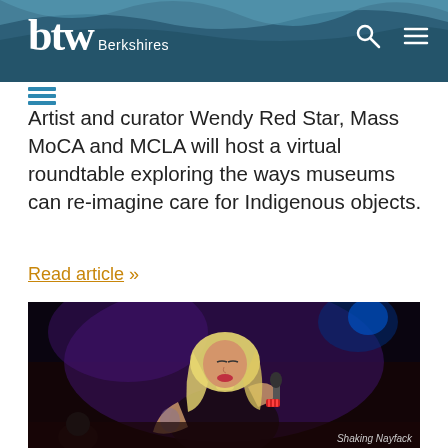btw Berkshires
Artist and curator Wendy Red Star, Mass MoCA and MCLA will host a virtual roundtable exploring the ways museums can re-imagine care for Indigenous objects.
Read article »
[Figure (photo): A performer with blonde hair singing into a microphone on a dark stage, wearing a black outfit with a red bracelet and visible tattoo on arm. Caption reads: Shaking Nayfack]
Shaking Nayfack